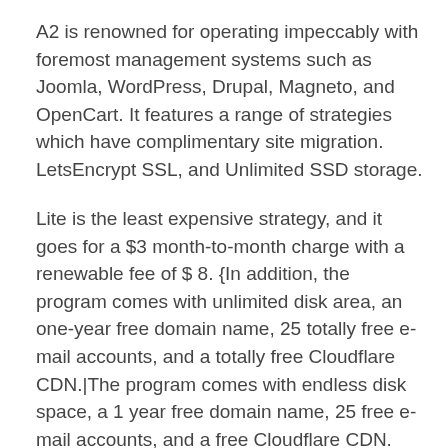A2 is renowned for operating impeccably with foremost management systems such as Joomla, WordPress, Drupal, Magneto, and OpenCart. It features a range of strategies which have complimentary site migration. LetsEncrypt SSL, and Unlimited SSD storage.
Lite is the least expensive strategy, and it goes for a $3 month-to-month charge with a renewable fee of $ 8. {In addition, the program comes with unlimited disk area, an one-year free domain name, 25 totally free e-mail accounts, and a totally free Cloudflare CDN.|The program comes with endless disk space, a 1 year free domain name, 25 free e-mail accounts, and a free Cloudflare CDN.